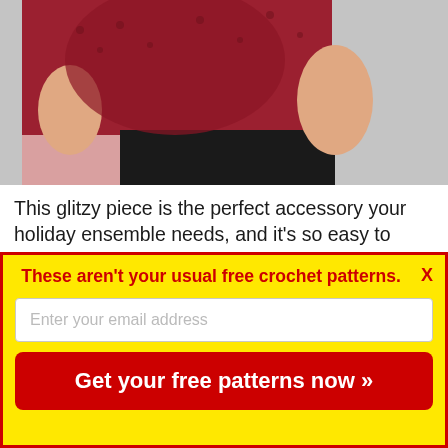[Figure (photo): Photo of a person wearing a red/crimson crochet wrap/shawl over a black dress, cropped to show torso and shoulders]
This glitzy piece is the perfect accessory your holiday ensemble needs, and it's so easy to work up. Simply crochet half the wrap and the edging before rejoining your yarn at the beginning and working out the other way. Pair this with a simple black dress for effortless glam.
View Project
These aren't your usual free crochet patterns.
Enter your email address
Get your free patterns now »